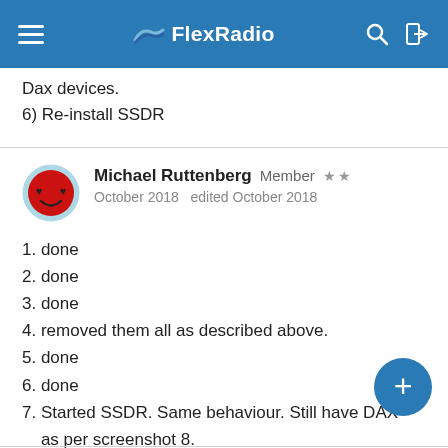FlexRadio
Dax devices.
6) Re-install SSDR
Michael Ruttenberg  Member  ★★
October 2018  edited October 2018
1. done
2. done
3. done
4. removed them all as described above.
5. done
6. done
7. Started SSDR. Same behaviour. Still have DAX as per screenshot 8.